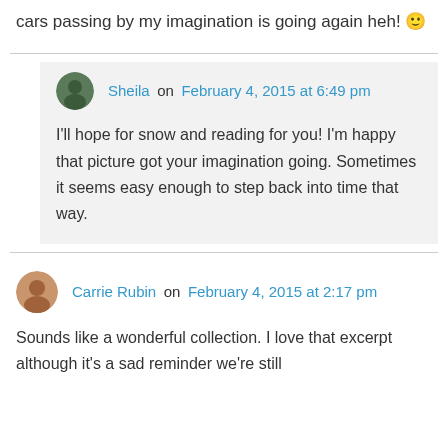cars passing by my imagination is going again heh! 🙂
Sheila on February 4, 2015 at 6:49 pm
I'll hope for snow and reading for you! I'm happy that picture got your imagination going. Sometimes it seems easy enough to step back into time that way.
Carrie Rubin on February 4, 2015 at 2:17 pm
Sounds like a wonderful collection. I love that excerpt although it's a sad reminder we're still